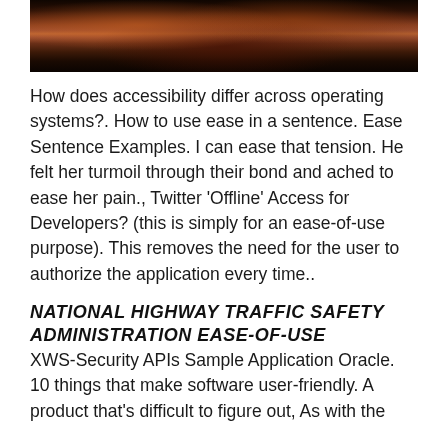[Figure (photo): A dark dramatic classical painting with figures, warm reddish-brown tones, partially cropped at top of page]
How does accessibility differ across operating systems?. How to use ease in a sentence. Ease Sentence Examples. I can ease that tension. He felt her turmoil through their bond and ached to ease her pain., Twitter 'Offline' Access for Developers? (this is simply for an ease-of-use purpose). This removes the need for the user to authorize the application every time..
NATIONAL HIGHWAY TRAFFIC SAFETY ADMINISTRATION EASE-OF-USE
XWS-Security APIs Sample Application Oracle. 10 things that make software user-friendly. A product that's difficult to figure out, As with the